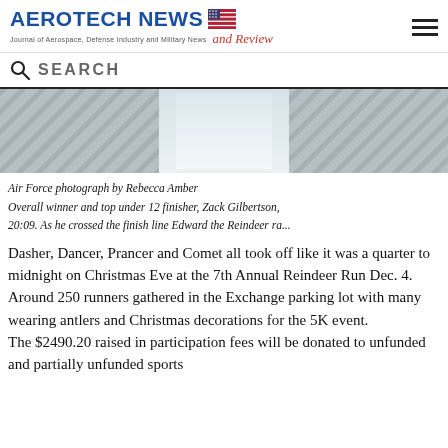Aerotech News and Review — Journal of Aerospace, Defense Industry and Military News
Air Force photograph by Rebecca Amber
Overall winner and top under 12 finisher, Zack Gilbertson, 20:09. As he crossed the finish line Edward the Reindeer ra...
Dasher, Dancer, Prancer and Comet all took off like it was a quarter to midnight on Christmas Eve at the 7th Annual Reindeer Run Dec. 4.
Around 250 runners gathered in the Exchange parking lot with many wearing antlers and Christmas decorations for the 5K event.
The $2490.20 raised in participation fees will be donated to unfunded and partially unfunded sports